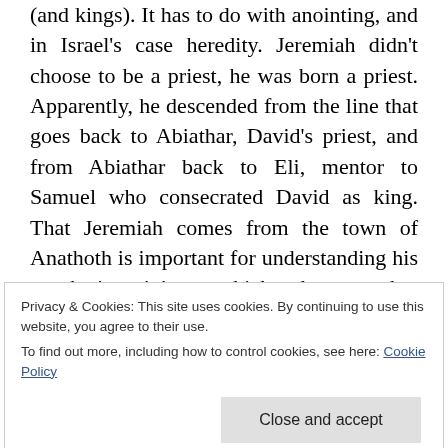(and kings). It has to do with anointing, and in Israel's case heredity. Jeremiah didn't choose to be a priest, he was born a priest. Apparently, he descended from the line that goes back to Abiathar, David's priest, and from Abiathar back to Eli, mentor to Samuel who consecrated David as king. That Jeremiah comes from the town of Anathoth is important for understanding his prophetic ministry, which takes a rather anti-monarchical position. This is perhaps due in part to the fact that his priestly line was itself in exile. Abiathar, who had been priest during David's
Privacy & Cookies: This site uses cookies. By continuing to use this website, you agree to their use.
To find out more, including how to control cookies, see here: Cookie Policy
Close and accept
meant to be a priest. He was born to that. His father